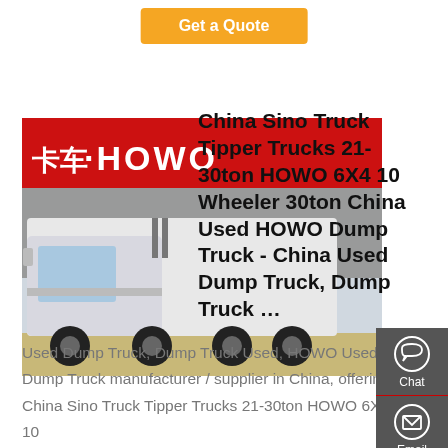Get a Quote
[Figure (photo): White HOWO semi-truck/tractor unit parked in front of a red HOWO branded building/sign]
China Sino Truck Tipper Trucks 21-30ton HOWO 6X4 10 Wheeler 30ton China Used HOWO Dump Truck - China Used Dump Truck, Dump Truck ...
Used Dump Truck, Dump Truck Used, HOWO Used Dump Truck manufacturer / supplier in China, offering China Sino Truck Tipper Trucks 21-30ton HOWO 6X4 10